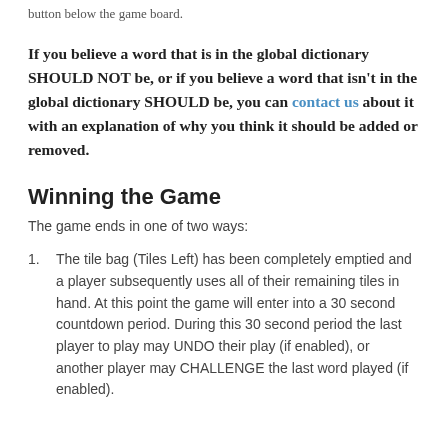button below the game board.
If you believe a word that is in the global dictionary SHOULD NOT be, or if you believe a word that isn't in the global dictionary SHOULD be, you can contact us about it with an explanation of why you think it should be added or removed.
Winning the Game
The game ends in one of two ways:
The tile bag (Tiles Left) has been completely emptied and a player subsequently uses all of their remaining tiles in hand. At this point the game will enter into a 30 second countdown period. During this 30 second period the last player to play may UNDO their play (if enabled), or another player may CHALLENGE the last word played (if enabled).